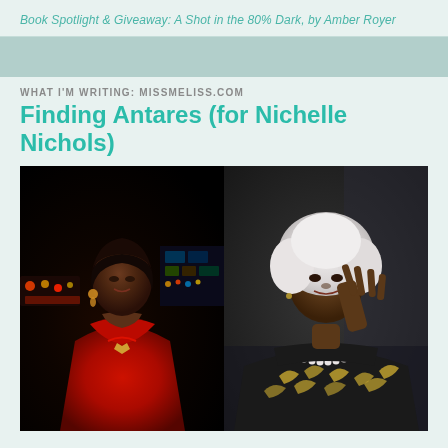Book Spotlight & Giveaway: A Shot in the 80% Dark, by Amber Royer
WHAT I'M WRITING: MISSMELISS.COM
Finding Antares (for Nichelle Nichols)
[Figure (photo): Two side-by-side photos of Nichelle Nichols — left: a younger Nichols in her Star Trek red uniform against the Enterprise bridge background; right: an older Nichols with white hair giving the Vulcan salute, wearing a patterned black and gold jacket with a pearl necklace.]